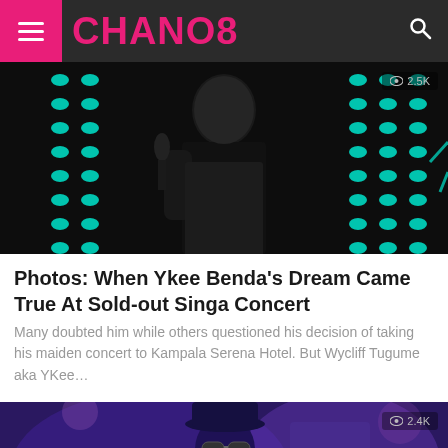CHANO8
[Figure (photo): Singer performing on stage holding microphone, dark background with cyan dot lighting grid pattern. View count: 2.5K]
Photos: When Ykee Benda's Dream Came True At Sold-out Singa Concert
Many doubted him while others questioned his decision of taking his maiden concert to Kampala Serena Hotel. But Wycliff Tugume aka YKee…
[Figure (photo): Male artist performing on stage wearing hat and sunglasses, purple stage lighting. View count: 2.4K]